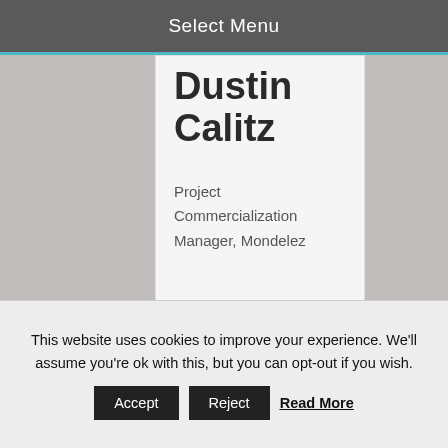Select Menu
Dustin Calitz
Project Commercialization Manager, Mondelez
I feel this ranking misses the m not seem to consider a key ind inventory on hand, which is key a SC company's ability to forec
This website uses cookies to improve your experience. We'll assume you're ok with this, but you can opt-out if you wish. Accept Reject Read More